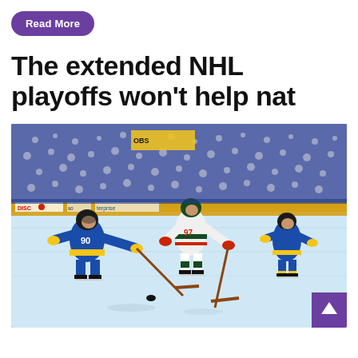Read More
The extended NHL playoffs won't help nat
[Figure (photo): NHL hockey game action shot showing players from the St. Louis Blues (blue and yellow jerseys, number 90) competing against a player from the Minnesota Wild (white and green jersey, number 97) on the ice, with a packed arena crowd in the background. A purple scroll-up button is visible in the bottom right corner of the image.]